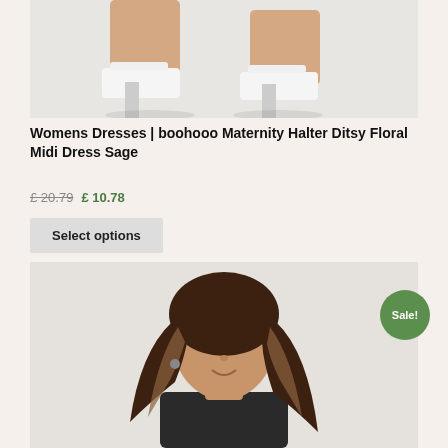[Figure (photo): Close-up photo of a woman's feet wearing white block-heeled thong sandals on a light background]
Womens Dresses | boohooo Maternity Halter Ditsy Floral Midi Dress Sage
£ 20.79  £ 10.78
Select options
[Figure (photo): Photo of a woman with long highlighted brunette hair, upper body visible, wearing a dark top, against a light background. A green 'Sale!' badge is overlaid in the top right corner.]